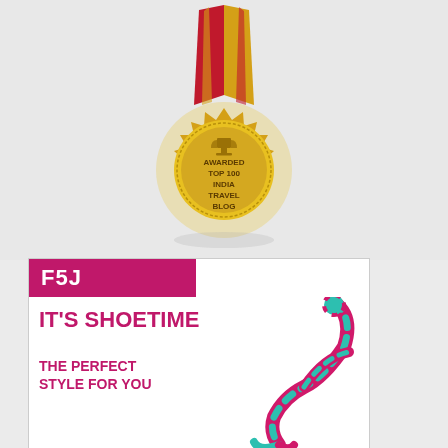[Figure (illustration): Gold medal with red ribbon, text reads: AWARDED TOP 100 INDIA TRAVEL BLOG, with a trophy icon at top center of medal]
[Figure (illustration): Advertisement banner for F5J (shoe brand). Pink header bar with white logo text 'F5J'. White body with teal/pink gymnast figure illustration on right. Bold pink text: IT'S SHOETIME. Pink italic text: THE PERFECT STYLE FOR YOU.]